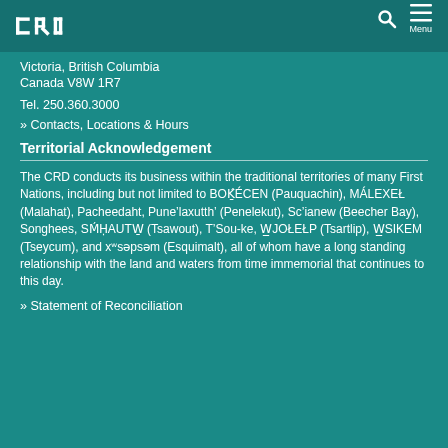CRD logo and navigation menu
Victoria, British Columbia
Canada V8W 1R7
Tel. 250.360.3000
» Contacts, Locations & Hours
Territorial Acknowledgement
The CRD conducts its business within the traditional territories of many First Nations, including but not limited to BOḰEĆEN (Pauquachin), MÁLEXEȽ (Malahat), Pacheedaht, Pune'laxutth' (Penelekut), Sc'ianew (Beecher Bay), Songhees, SȾÁUTW̱ (Tsawout), T'Sou-ke, W̱JOȽEȽP (Tsartlip), W̱SIKEM (Tseycum), and xʷsəpsəm (Esquimalt), all of whom have a long standing relationship with the land and waters from time immemorial that continues to this day.
» Statement of Reconciliation